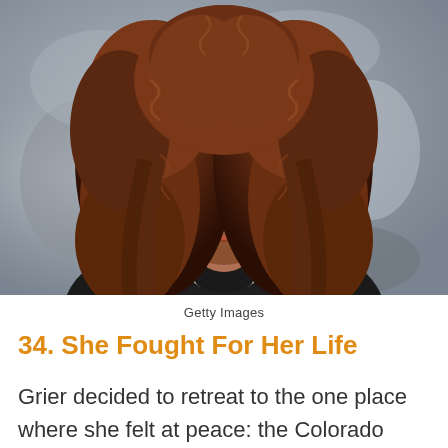[Figure (photo): Portrait photo of a woman with long curly auburn hair wearing a dark jacket, photographed against a grey mottled background. Getty Images.]
Getty Images
34. She Fought For Her Life
Grier decided to retreat to the one place where she felt at peace: the Colorado